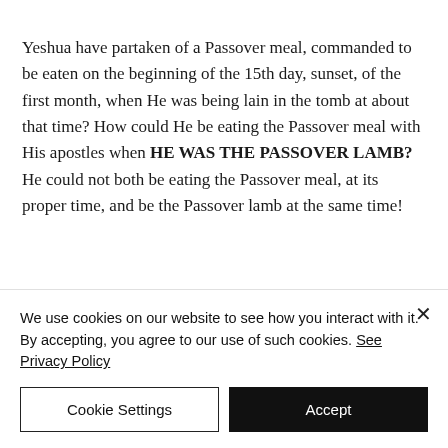Yeshua have partaken of a Passover meal, commanded to be eaten on the beginning of the 15th day, sunset, of the first month, when He was being lain in the tomb at about that time? How could He be eating the Passover meal with His apostles when HE WAS THE PASSOVER LAMB? He could not both be eating the Passover meal, at its proper time, and be the Passover lamb at the same time!
We use cookies on our website to see how you interact with it. By accepting, you agree to our use of such cookies. See Privacy Policy
Cookie Settings
Accept